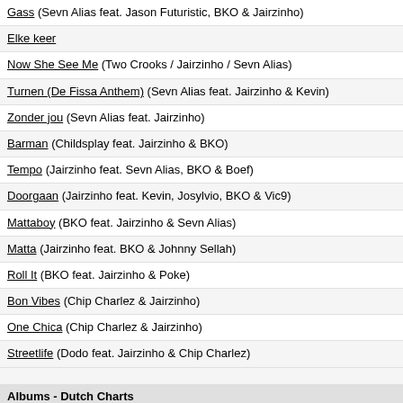Gass (Sevn Alias feat. Jason Futuristic, BKO & Jairzinho)
Elke keer
Now She See Me (Two Crooks / Jairzinho / Sevn Alias)
Turnen (De Fissa Anthem) (Sevn Alias feat. Jairzinho & Kevin)
Zonder jou (Sevn Alias feat. Jairzinho)
Barman (Childsplay feat. Jairzinho & BKO)
Tempo (Jairzinho feat. Sevn Alias, BKO & Boef)
Doorgaan (Jairzinho feat. Kevin, Josylvio, BKO & Vic9)
Mattaboy (BKO feat. Jairzinho & Sevn Alias)
Matta (Jairzinho feat. BKO & Johnny Sellah)
Roll It (BKO feat. Jairzinho & Poke)
Bon Vibes (Chip Charlez & Jairzinho)
One Chica (Chip Charlez & Jairzinho)
Streetlife (Dodo feat. Jairzinho & Chip Charlez)
Albums - Dutch Charts
Titel
Nummer één
Jairzinho
Het project met en voor vrouwen
BKO
DISCOGRAFIE / FAN WORDEN
Singles - Dutch Charts
Titel